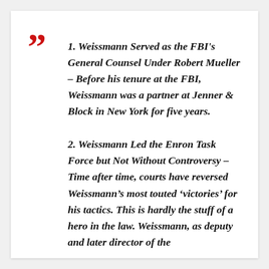1. Weissmann Served as the FBI's General Counsel Under Robert Mueller – Before his tenure at the FBI, Weissmann was a partner at Jenner & Block in New York for five years.
2. Weissmann Led the Enron Task Force but Not Without Controversy – Time after time, courts have reversed Weissmann's most touted 'victories' for his tactics. This is hardly the stuff of a hero in the law. Weissmann, as deputy and later director of the